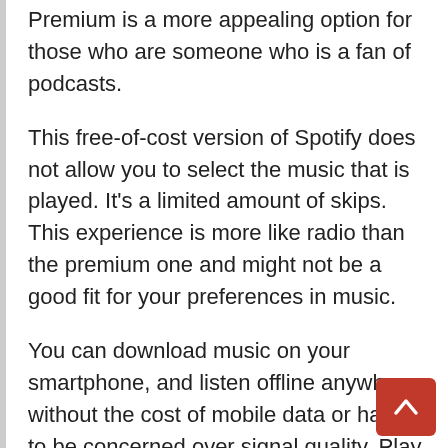Premium is a more appealing option for those who are someone who is a fan of podcasts.
This free-of-cost version of Spotify does not allow you to select the music that is played. It's a limited amount of skips. This experience is more like radio than the premium one and might not be a good fit for your preferences in music.
You can download music on your smartphone, and listen offline anywhere, without the cost of mobile data or having to be concerned over signal quality. Play the music that you have saved and ignore signal bars. You can also get premium streaming, or downloading. This is apparent in more expensive headphones.